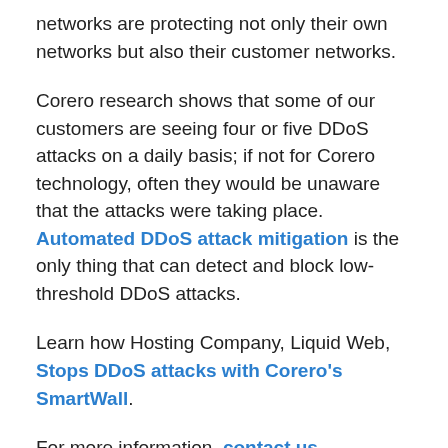networks are protecting not only their own networks but also their customer networks.
Corero research shows that some of our customers are seeing four or five DDoS attacks on a daily basis; if not for Corero technology, often they would be unaware that the attacks were taking place. Automated DDoS attack mitigation is the only thing that can detect and block low-threshold DDoS attacks.
Learn how Hosting Company, Liquid Web, Stops DDoS attacks with Corero's SmartWall.
For more information, contact us.